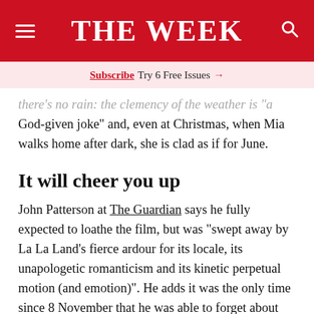THE WEEK
Subscribe  Try 6 Free Issues →
there's no rain: the clemency of the weather is "a God-given joke" and, even at Christmas, when Mia walks home after dark, she is clad as if for June.
It will cheer you up
John Patterson at The Guardian says he fully expected to loathe the film, but was "swept away by La La Land's fierce ardour for its locale, its unapologetic romanticism and its kinetic perpetual motion (and emotion)". He adds it was the only time since 8 November that he was able to forget about Trump World. "It made me happy, and it made me